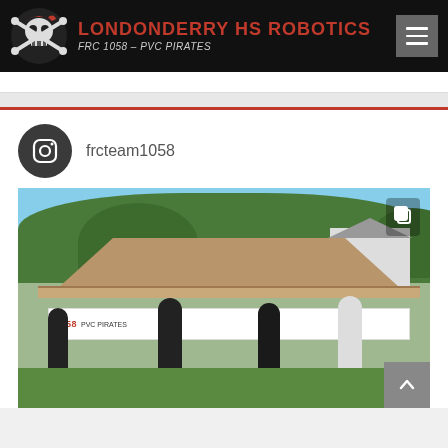LONDONDERRY HS ROBOTICS — FRC 1058 — PVC PIRATES
[Figure (other): Instagram profile widget showing username frcteam1058 with circular Instagram icon on dark background]
[Figure (photo): Outdoor event photo showing team members under a canopy tent with '1058 PVC PIRATES' banner, surrounded by trees and a house in background]